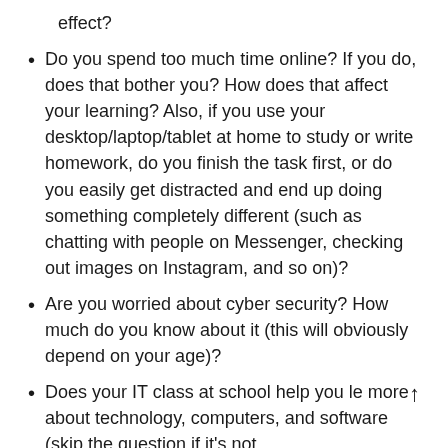effect?
Do you spend too much time online? If you do, does that bother you? How does that affect your learning? Also, if you use your desktop/laptop/tablet at home to study or write homework, do you finish the task first, or do you easily get distracted and end up doing something completely different (such as chatting with people on Messenger, checking out images on Instagram, and so on)?
Are you worried about cyber security? How much do you know about it (this will obviously depend on your age)?
Does your IT class at school help you le more about technology, computers, and software (skip the question if it's not